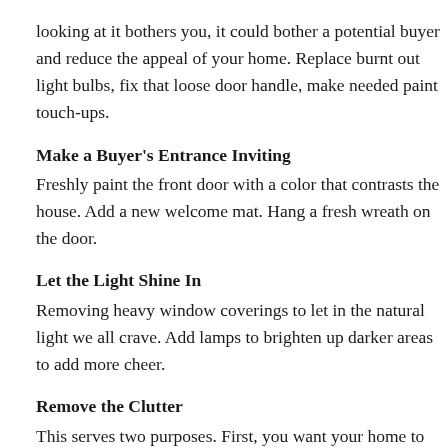looking at it bothers you, it could bother a potential buyer and reduce the appeal of your home. Replace burnt out light bulbs, fix that loose door handle, make needed paint touch-ups.
Make a Buyer's Entrance Inviting
Freshly paint the front door with a color that contrasts the house. Add a new welcome mat. Hang a fresh wreath on the door.
Let the Light Shine In
Removing heavy window coverings to let in the natural light we all crave. Add lamps to brighten up darker areas to add more cheer.
Remove the Clutter
This serves two purposes. First, you want your home to have